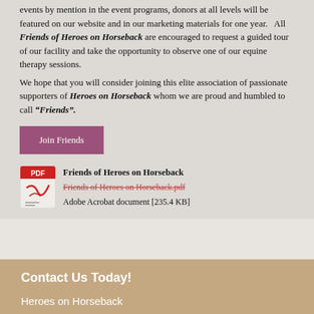events by mention in the event programs, donors at all levels will be featured on our website and in our marketing materials for one year.   All Friends of Heroes on Horseback are encouraged to request a guided tour of our facility and take the opportunity to observe one of our equine therapy sessions.
We hope that you will consider joining this elite association of passionate supporters of Heroes on Horseback whom we are proud and humbled to call "Friends".
Join Friends
[Figure (illustration): PDF file icon with red header and Adobe Acrobat logo]
Friends of Heroes on Horseback
Friends of Heroes on Horseback.pdf
Adobe Acrobat document [235.4 KB]
Contact Us Today!
Heroes on Horseback